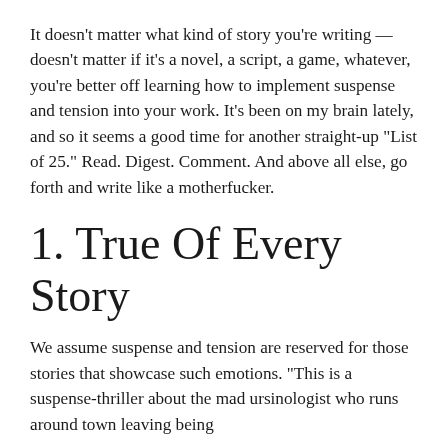It doesn't matter what kind of story you're writing — doesn't matter if it's a novel, a script, a game, whatever, you're better off learning how to implement suspense and tension into your work. It's been on my brain lately, and so it seems a good time for another straight-up “List of 25.” Read. Digest. Comment. And above all else, go forth and write like a motherfucker.
1. True Of Every Story
We assume suspense and tension are reserved for those stories that showcase such emotions. “This is a suspense-thriller about the mad ursinologist who runs around town leaving being